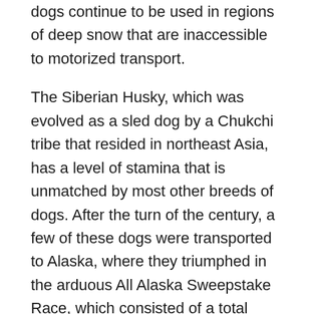dogs continue to be used in regions of deep snow that are inaccessible to motorized transport.
The Siberian Husky, which was evolved as a sled dog by a Chukchi tribe that resided in northeast Asia, has a level of stamina that is unmatched by most other breeds of dogs. After the turn of the century, a few of these dogs were transported to Alaska, where they triumphed in the arduous All Alaska Sweepstake Race, which consisted of a total distance of 400 miles (or 644 kilometers). The appealing nature of these dogs aided in the expansion of their popularity as companion animals.
However, in recent years, in addition to simply being kept as energetic companions or as show dogs, they